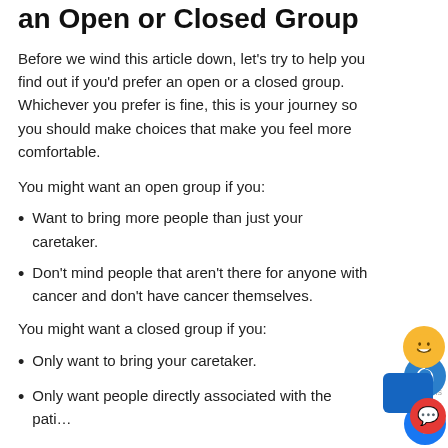How to Tell If You Want an Open or Closed Group
Before we wind this article down, let's try to help you find out if you'd prefer an open or a closed group. Whichever you prefer is fine, this is your journey so you should make choices that make you feel more comfortable.
You might want an open group if you:
Want to bring more people than just your caretaker.
Don't mind people that aren't there for anyone with cancer and don't have cancer themselves.
You might want a closed group if you:
Only want to bring your caretaker.
Only want people directly associated with the patient.